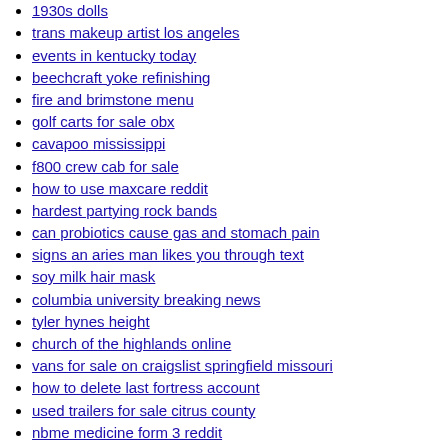buffy season 6 imdb
1930s dolls
trans makeup artist los angeles
events in kentucky today
beechcraft yoke refinishing
fire and brimstone menu
golf carts for sale obx
cavapoo mississippi
f800 crew cab for sale
how to use maxcare reddit
hardest partying rock bands
can probiotics cause gas and stomach pain
signs an aries man likes you through text
soy milk hair mask
columbia university breaking news
tyler hynes height
church of the highlands online
vans for sale on craigslist springfield missouri
how to delete last fortress account
used trailers for sale citrus county
nbme medicine form 3 reddit
free fake doctors note for work
western tack stores near me
bike rentals hilton head coligny
u pack vs pods